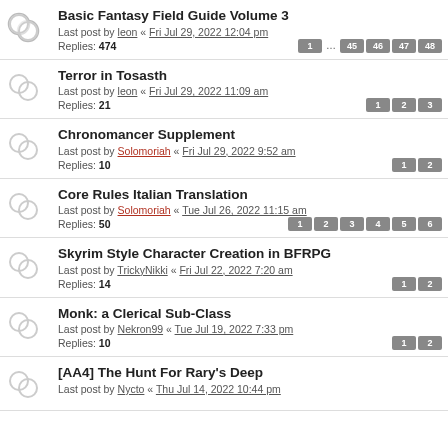Basic Fantasy Field Guide Volume 3 — Last post by leon « Fri Jul 29, 2022 12:04 pm — Replies: 474 — Pages: 1 … 45 46 47 48
Terror in Tosasth — Last post by leon « Fri Jul 29, 2022 11:09 am — Replies: 21 — Pages: 1 2 3
Chronomancer Supplement — Last post by Solomoriah « Fri Jul 29, 2022 9:52 am — Replies: 10 — Pages: 1 2
Core Rules Italian Translation — Last post by Solomoriah « Tue Jul 26, 2022 11:15 am — Replies: 50 — Pages: 1 2 3 4 5 6
Skyrim Style Character Creation in BFRPG — Last post by TrickyNikki « Fri Jul 22, 2022 7:20 am — Replies: 14 — Pages: 1 2
Monk: a Clerical Sub-Class — Last post by Nekron99 « Tue Jul 19, 2022 7:33 pm — Replies: 10 — Pages: 1 2
[AA4] The Hunt For Rary's Deep — Last post by Nycto « Thu Jul 14, 2022 10:44 pm